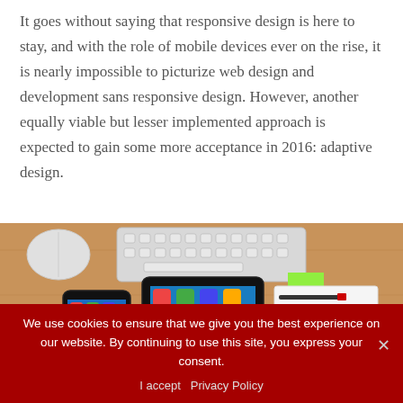It goes without saying that responsive design is here to stay, and with the role of mobile devices ever on the rise, it is nearly impossible to picturize web design and development sans responsive design. However, another equally viable but lesser implemented approach is expected to gain some more acceptance in 2016: adaptive design.
[Figure (photo): Top-down view of a wooden desk with a keyboard, mouse, smartphone, tablet, and papers with wireframe sketches]
We use cookies to ensure that we give you the best experience on our website. By continuing to use this site, you express your consent.
I accept   Privacy Policy